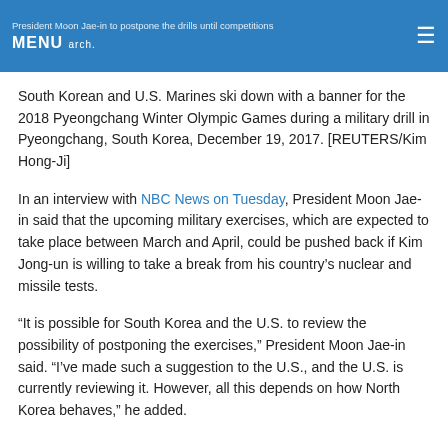President Moon Jae-in to postpone the drills until competitions MENU ≡ arch.
South Korean and U.S. Marines ski down with a banner for the 2018 Pyeongchang Winter Olympic Games during a military drill in Pyeongchang, South Korea, December 19, 2017. [REUTERS/Kim Hong-Ji]
In an interview with NBC News on Tuesday, President Moon Jae-in said that the upcoming military exercises, which are expected to take place between March and April, could be pushed back if Kim Jong-un is willing to take a break from his country's nuclear and missile tests.
“It is possible for South Korea and the U.S. to review the possibility of postponing the exercises,” President Moon Jae-in said. “I’ve made such a suggestion to the U.S., and the U.S. is currently reviewing it. However, all this depends on how North Korea behaves,” he added.